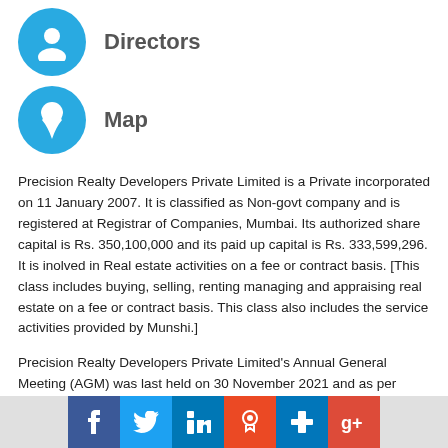[Figure (illustration): Blue circle icon with person/user silhouette]
Directors
[Figure (illustration): Blue circle icon with map pin/location marker]
Map
Precision Realty Developers Private Limited is a Private incorporated on 11 January 2007. It is classified as Non-govt company and is registered at Registrar of Companies, Mumbai. Its authorized share capital is Rs. 350,100,000 and its paid up capital is Rs. 333,599,296. It is inolved in Real estate activities on a fee or contract basis. [This class includes buying, selling, renting managing and appraising real estate on a fee or contract basis. This class also includes the service activities provided by Munshi.]
Precision Realty Developers Private Limited's Annual General Meeting (AGM) was last held on 30 November 2021 and as per records from Ministry of Corporate Affairs (MCA), its
[Figure (illustration): Social media sharing bar with Facebook, Twitter, LinkedIn, StumbleUpon, Delicious, Google+ icons]